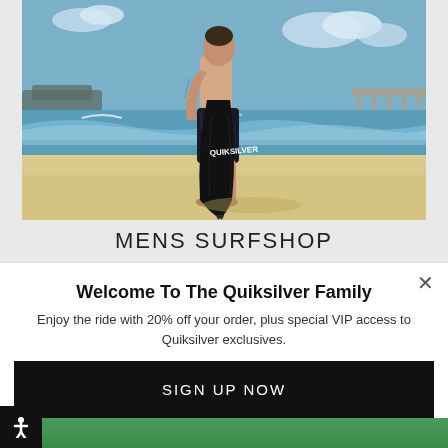[Figure (photo): A shirtless male surfer with tattoos standing on a sandy beach, leaning over a black Quiksilver surfboard. Blue ocean and pier visible in background under partly cloudy sky.]
MENS SURFSHOP
Welcome To The Quiksilver Family
Enjoy the ride with 20% off your order, plus special VIP access to Quiksilver exclusives.
SIGN UP NOW